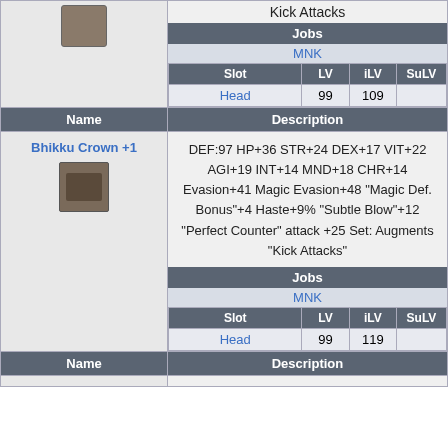| Name | Description |
| --- | --- |
| (item image) | Kick Attacks
Jobs: MNK
Slot: Head, LV: 99, iLV: 109, SuLV: — |
| Bhikku Crown +1 | DEF:97 HP+36 STR+24 DEX+17 VIT+22 AGI+19 INT+14 MND+18 CHR+14 Evasion+41 Magic Evasion+48 "Magic Def. Bonus"+4 Haste+9% "Subtle Blow"+12 "Perfect Counter" attack +25 Set: Augments "Kick Attacks"
Jobs: MNK
Slot: Head, LV: 99, iLV: 119, SuLV: — |
| Name | Description |
| --- | --- |